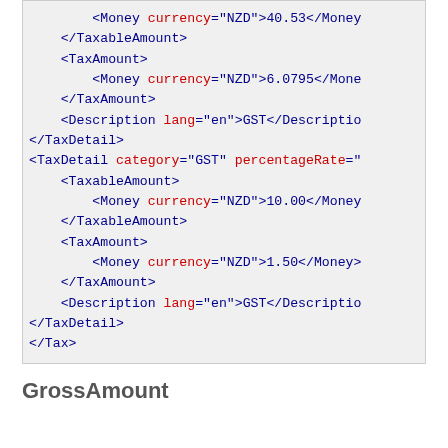[Figure (screenshot): XML code snippet showing TaxableAmount, TaxAmount, Description, TaxDetail elements with NZD currency values (40.53, 6.0795, 10.00, 1.50) and GST descriptions, ending with closing Tax tag]
GrossAmount